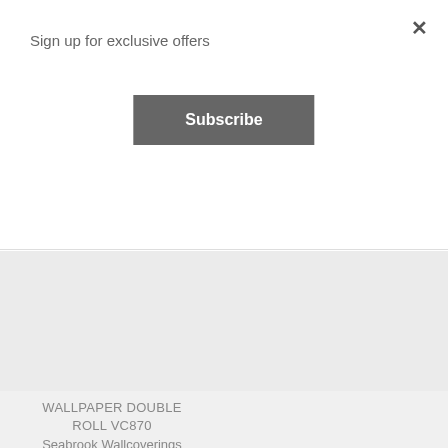Sign up for exclusive offers
×
Subscribe
[Figure (other): Gray placeholder product image (left)]
[Figure (other): Gray placeholder product image (right)]
WALLPAPER DOUBLE ROLL VC870
Seabrook Wallcoverings
$39.98